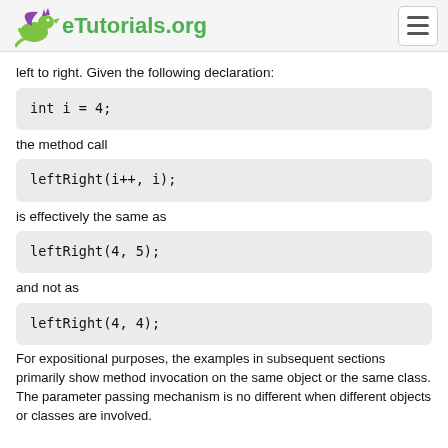eTutorials.org
left to right. Given the following declaration:
int i = 4;
the method call
leftRight(i++, i);
is effectively the same as
leftRight(4, 5);
and not as
leftRight(4, 4);
For expositional purposes, the examples in subsequent sections primarily show method invocation on the same object or the same class. The parameter passing mechanism is no different when different objects or classes are involved.